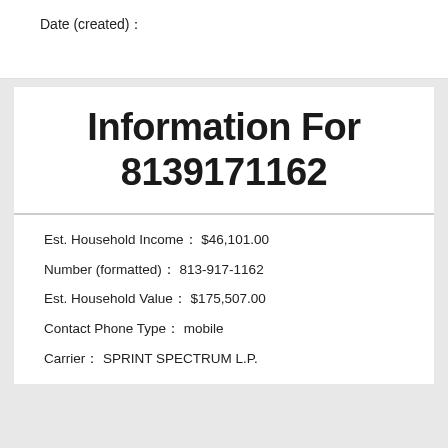Date (created):
Information For 8139171162
Est. Household Income:  $46,101.00
Number (formatted):  813-917-1162
Est. Household Value:  $175,507.00
Contact Phone Type:  mobile
Carrier:  SPRINT SPECTRUM L.P.